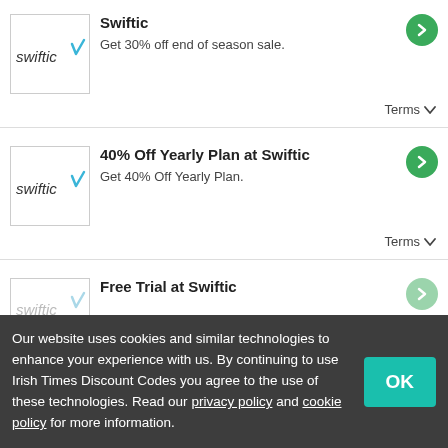[Figure (logo): Swiftic logo with italic text and blue checkmark]
Swiftic
Get 30% off end of season sale.
Terms ∨
[Figure (logo): Swiftic logo]
40% Off Yearly Plan at Swiftic
Get 40% Off Yearly Plan.
Terms ∨
[Figure (logo): Swiftic logo partial]
Free Trial at Swiftic
Our website uses cookies and similar technologies to enhance your experience with us. By continuing to use Irish Times Discount Codes you agree to the use of these technologies. Read our privacy policy and cookie policy for more information.